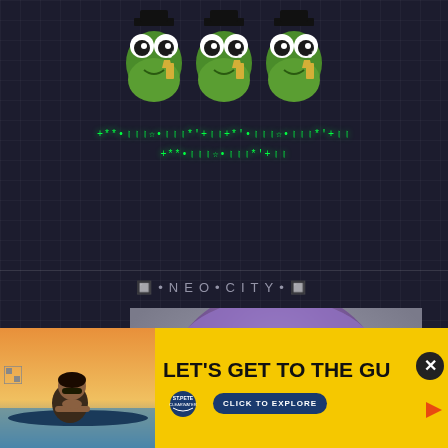[Figure (illustration): Three Pepe the Frog meme characters with wide eyes, holding champagne glasses, arranged side by side on a dark background]
+**•।।।☆•।।।*'+ ।।+*'•।।।☆•।।।*'+।। +**•।।।☆•।।।*'+।।
🔲•NEO•CITY•🔲
[Figure (photo): Close-up portrait of a person with purple/lavender colored hair and dark eyes, cropped to show mostly hair and eyes]
[Figure (photo): Advertisement banner with yellow background showing a woman in sunglasses by water at sunset, with text LET'S GET TO THE GU and St. Pete Clearwater logo and CLICK TO EXPLORE button]